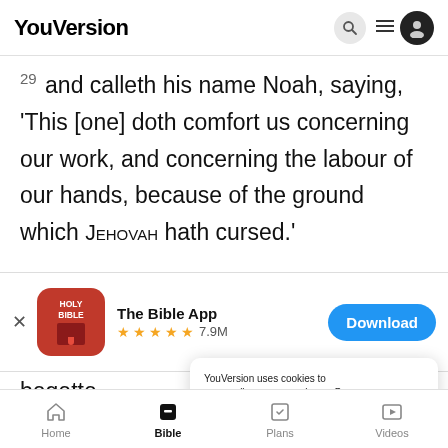YouVersion
29 and calleth his name Noah, saying, 'This [one] doth comfort us concerning our work, and concerning the labour of our hands, because of the ground which JEHOVAH hath cursed.'
[Figure (screenshot): App download banner for The Bible App with Holy Bible icon, 5 star rating 7.9M reviews, and a blue Download button]
begette
31 An
hundred and seventy and seven years, and he
YouVersion uses cookies to personalize your experience. By using our website, you accept our use of cookies as described in our Privacy Policy.
Home | Bible | Plans | Videos